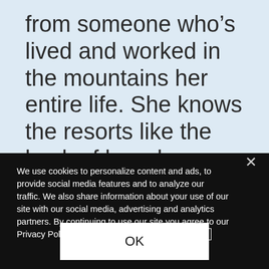from someone who's lived and worked in the mountains her entire life. She knows the resorts like the back of her glove — and can't wait to put every adventure in the hands of our guests. She uses artificial intelligence and
We use cookies to personalize content and ads, to provide social media features and to analyze our traffic. We also share information about your use of our site with our social media, advertising and analytics partners. By continuing to use our site you agree to our Privacy Policy and use of cookies. Privacy Policy
OK